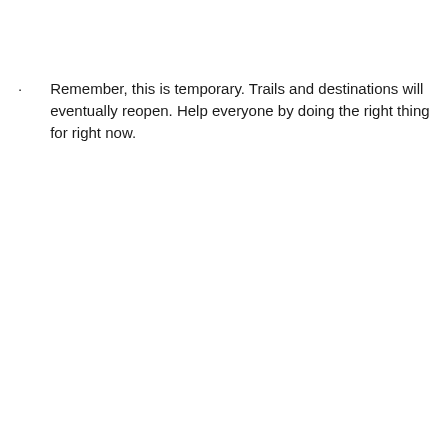Remember, this is temporary. Trails and destinations will eventually reopen. Help everyone by doing the right thing for right now.